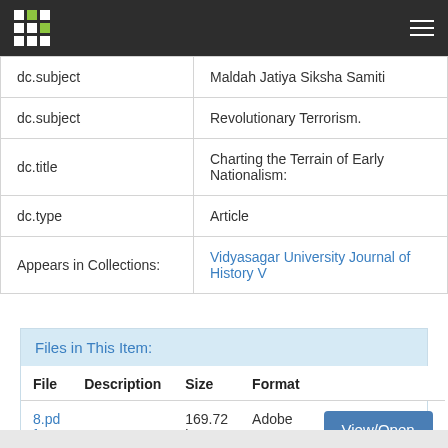Navigation bar with logo and hamburger menu
| Field | Value |
| --- | --- |
| dc.subject | Maldah Jatiya Siksha Samiti |
| dc.subject | Revolutionary Terrorism. |
| dc.title | Charting the Terrain of Early Nationalism: |
| dc.type | Article |
| Appears in Collections: | Vidyasagar University Journal of History V |
Files in This Item:
| File | Description | Size | Format |  |
| --- | --- | --- | --- | --- |
| 8.pdf |  | 169.72 kB | Adobe PDF | View/Open |